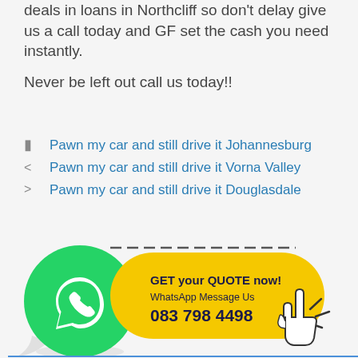deals in loans in Northcliff so don't delay give us a call today and GF set the cash you need instantly.
Never be left out call us today!!
Pawn my car and still drive it Johannesburg
Pawn my car and still drive it Vorna Valley
Pawn my car and still drive it Douglasdale
[Figure (infographic): WhatsApp call-to-action banner with green WhatsApp logo icon on left, yellow rounded pill button on right showing 'GET your QUOTE now! WhatsApp Message Us 083 798 4498' with a pointing hand cursor icon, and dashed border on top of pill.]